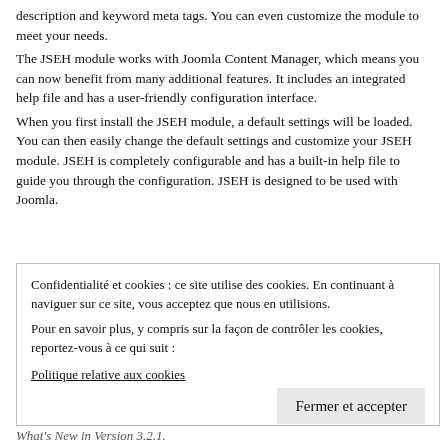description and keyword meta tags. You can even customize the module to meet your needs.
The JSEH module works with Joomla Content Manager, which means you can now benefit from many additional features. It includes an integrated help file and has a user-friendly configuration interface.
When you first install the JSEH module, a default settings will be loaded. You can then easily change the default settings and customize your JSEH module. JSEH is completely configurable and has a built-in help file to guide you through the configuration. JSEH is designed to be used with Joomla.
Confidentialité et cookies : ce site utilise des cookies. En continuant à naviguer sur ce site, vous acceptez que nous en utilisions.
Pour en savoir plus, y compris sur la façon de contrôler les cookies, reportez-vous à ce qui suit :
Politique relative aux cookies
Fermer et accepter
What's New in Version 3.2.1.